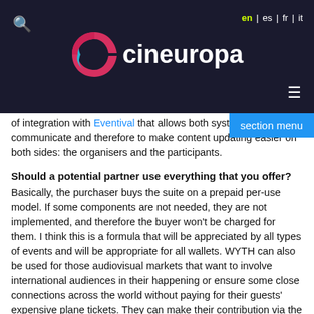cineuropa | en | es | fr | it
of integration with Eventival that allows both systems to communicate and therefore to make content updating easier on both sides: the organisers and the participants.
Should a potential partner use everything that you offer?
Basically, the purchaser buys the suite on a prepaid per-use model. If some components are not needed, they are not implemented, and therefore the buyer won't be charged for them. I think this is a formula that will be appreciated by all types of events and will be appropriate for all wallets. WYTH can also be used for those audiovisual markets that want to involve international audiences in their happening or ensure some close connections across the world without paying for their guests' expensive plane tickets. They can make their contribution via the internet, via a platform that can maximise a person's intervention and presence – even if it is digital.
How was your experience at WEMW?
Starting with WEMW was an excellent kick-off. Working with the team in Trieste was great because they explained to us exactly what a producer, a distributor and, in general terms, a participant in an audiovisual market is looking for while attending it, along with